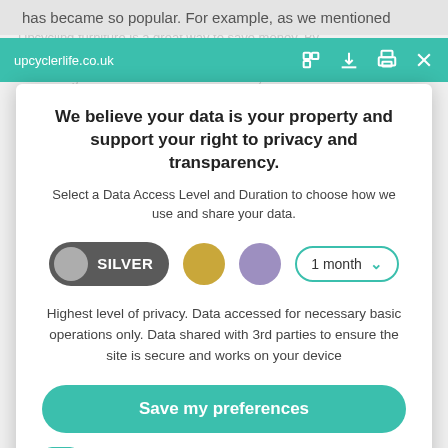has became so popular. For example, as we mentioned
upcyclerlife.co.uk
We believe your data is your property and support your right to privacy and transparency.
Select a Data Access Level and Duration to choose how we use and share your data.
[Figure (infographic): Data access level selector with SILVER toggle button (active), gold circle, purple circle, and a '1 month' duration dropdown]
Highest level of privacy. Data accessed for necessary basic operations only. Data shared with 3rd parties to ensure the site is secure and works on your device
Save my preferences
Customize
Privacy policy